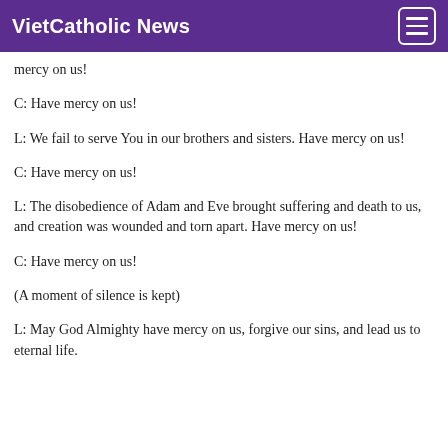VietCatholic News
mercy on us!
C: Have mercy on us!
L: We fail to serve You in our brothers and sisters. Have mercy on us!
C: Have mercy on us!
L: The disobedience of Adam and Eve brought suffering and death to us, and creation was wounded and torn apart. Have mercy on us!
C: Have mercy on us!
(A moment of silence is kept)
L: May God Almighty have mercy on us, forgive our sins, and lead us to eternal life.